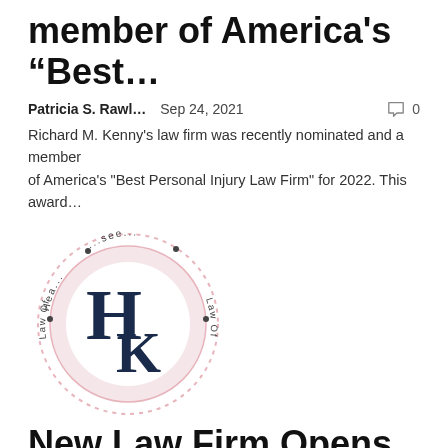member of America's “Best…
Patricia S. Rawl…   Sep 24, 2021   💬 0
Richard M. Kenny’s law firm was recently nominated and a member of America’s “Best Personal Injury Law Firm” for 2022. This award…
[Figure (logo): Circular law office logo with HK initials, pink border ring, and text reading Hea... see... Law Office around the ring]
New Law Firm Opens in Waverly | Pike
Patricia S. Rawl…   Sep 23, 2021   💬 0
WAVERLY - A new law firm has opened with a mission to proudly provide...